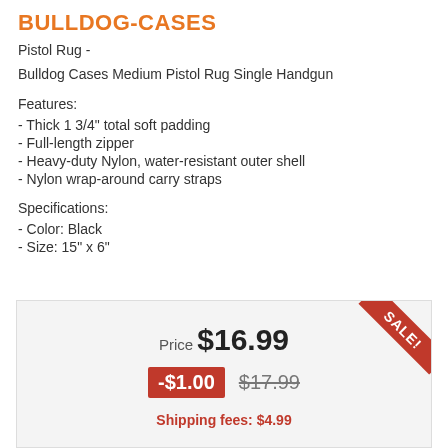BULLDOG-CASES
Pistol Rug -
Bulldog Cases Medium Pistol Rug Single Handgun
Features:
- Thick 1 3/4" total soft padding
- Full-length zipper
- Heavy-duty Nylon, water-resistant outer shell
- Nylon wrap-around carry straps
Specifications:
- Color: Black
- Size: 15" x 6"
| Price | Discount | Original | Shipping |
| --- | --- | --- | --- |
| $16.99 | -$1.00 | $17.99 | $4.99 |